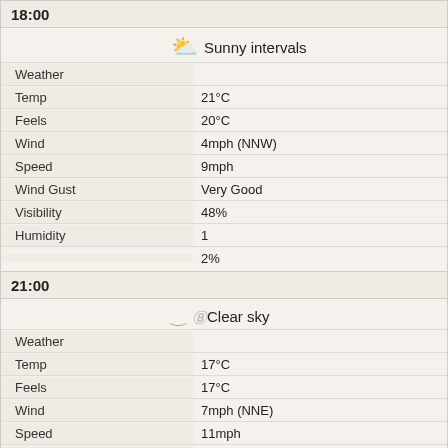18:00
| Label | Value |
| --- | --- |
| Weather | Sunny intervals |
| Temp | 21°C |
| Feels | 20°C |
| Wind | 4mph (NNW) |
| Speed | 9mph |
| Wind Gust | Very Good |
| Visibility | 48% |
| Humidity | 1 |
|  | 2% |
21:00
| Label | Value |
| --- | --- |
| Weather | Clear sky |
| Temp | 17°C |
| Feels | 17°C |
| Wind | 7mph (NNE) |
| Speed | 11mph |
| Wind Gust | Very Good |
| Visibility | 67% |
| Humidity | 0 |
|  | 1% |
27 August 2022
00:00
| Label | Value |
| --- | --- |
| Weather | Partly cloudy (night) |